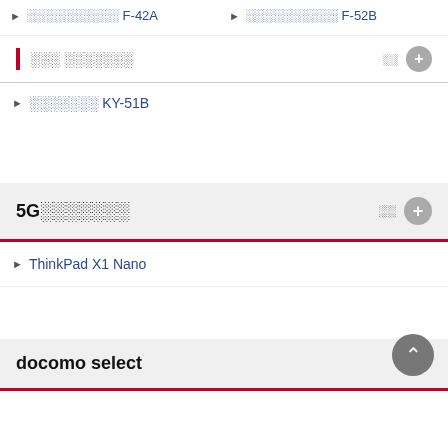▶ ░░░░░░░░░░ F-42A
▶ ░░░░░░░░░░ F-52B
░░░ ░░░░░░░
▶ ░░░░░░░ KY-51B
5G░░░░░░░
▶ ThinkPad X1 Nano
docomo select